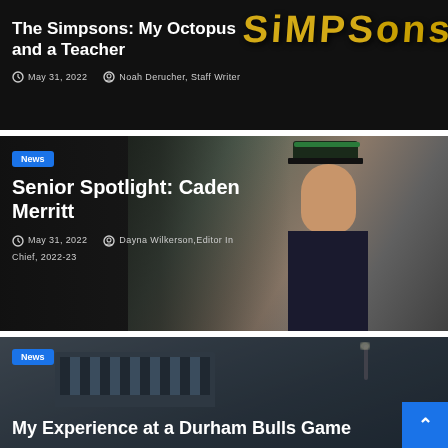[Figure (photo): Article card with dark background and Simpsons logo text overlay]
The Simpsons: My Octopus and a Teacher
May 31, 2022   Noah Derucher, Staff Writer
[Figure (photo): Marching band student in uniform with green-trimmed cap]
News
Senior Spotlight: Caden Merritt
May 31, 2022   Dayna Wilkerson, Editor In Chief, 2022-23
[Figure (photo): Durham Bulls stadium exterior at dusk]
News
My Experience at a Durham Bulls Game